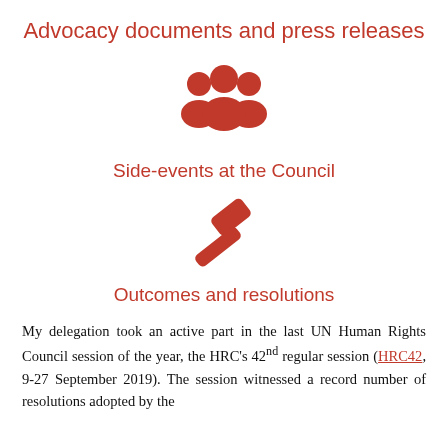Advocacy documents and press releases
[Figure (illustration): Red icon of a group of people (community/delegates symbol)]
Side-events at the Council
[Figure (illustration): Red icon of a gavel (outcomes/resolutions symbol)]
Outcomes and resolutions
My delegation took an active part in the last UN Human Rights Council session of the year, the HRC's 42nd regular session (HRC42, 9-27 September 2019). The session witnessed a record number of resolutions adopted by the